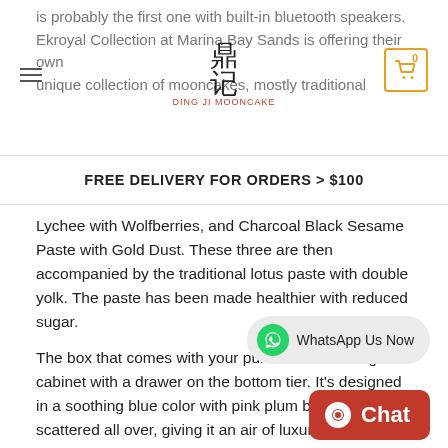is probably the first one with built-in bluetooth speakers. Ekroyal Collection at Marina Bay Sands is offering their own unique collection of mooncakes, mostly traditional
FREE DELIVERY FOR ORDERS > $100
Lychee with Wolfberries, and Charcoal Black Sesame Paste with Gold Dust. These three are then accompanied by the traditional lotus paste with double yolk. The paste has been made healthier with reduced sugar.
The box that comes with your purchase is an elegant cabinet with a drawer on the bottom tier. It's designed in a soothing blue color with pink plum blossoms scattered all over, giving it an air of luxury and sophistication.
Long after you're done consuming the mooncakes, the box can still be used as a decorative piece, or a speaker.
Website: https://www.panpacific.com/en/hotels/collection-marina-bay/offers/mid-autumn-enchantments.html